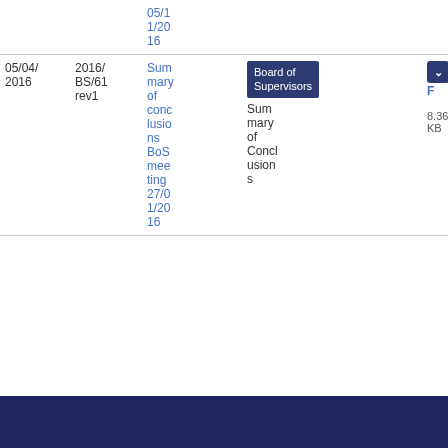| Date | Ref | Title | Body | Description | File |
| --- | --- | --- | --- | --- | --- |
|  |  | 05/11/2016 |  | Summary of Conclusions |  |
| 05/04/2016 | 2016/BS/61 rev1 | Summary of conclusions BoS meeting 27/01/2016 | Board of Supervisors | Summary of Conclusions | PDF 25 8.36 KB |